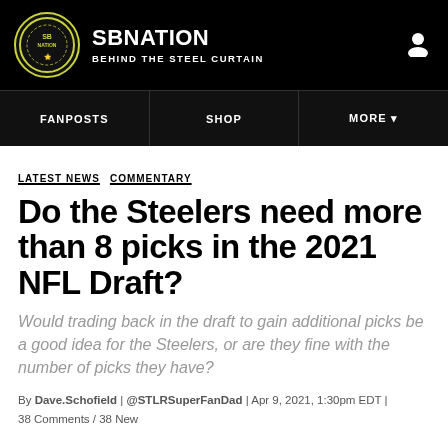SBNATION — BEHIND THE STEEL CURTAIN
FANPOSTS | SHOP | MORE
LATEST NEWS COMMENTARY
Do the Steelers need more than 8 picks in the 2021 NFL Draft?
Would trading back in the draft to gain additional picks be a good idea for the Steelers, or are they fine with the number of picks they have?
By Dave.Schofield | @STLRSuperFanDad | Apr 9, 2021, 1:30pm EDT | 38 Comments / 38 New